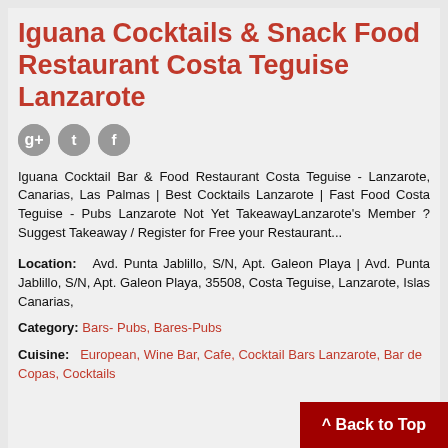Iguana Cocktails & Snack Food Restaurant Costa Teguise Lanzarote
[Figure (illustration): Three circular social media icons (Google+, Twitter, Facebook) in grey]
Iguana Cocktail Bar & Food Restaurant Costa Teguise - Lanzarote, Canarias, Las Palmas | Best Cocktails Lanzarote | Fast Food Costa Teguise - Pubs Lanzarote Not Yet TakeawayLanzarote's Member ? Suggest Takeaway / Register for Free your Restaurant...
Location: Avd. Punta Jablillo, S/N, Apt. Galeon Playa | Avd. Punta Jablillo, S/N, Apt. Galeon Playa, 35508, Costa Teguise, Lanzarote, Islas Canarias,
Category: Bars- Pubs, Bares-Pubs
Cuisine: European, Wine Bar, Cafe, Cocktail Bars Lanzarote, Bar de Copas, Cocktails
^ Back to Top